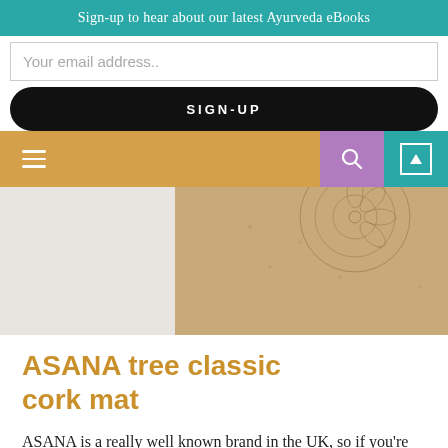Sign-up to hear about our latest Ayurveda eBooks
Your email address..
SIGN-UP
[Figure (illustration): Cork yoga mat with mandala design, circular shape, shown on white background, top portion visible]
ASANA tree classic cork mat
ASANA is a really well known brand in the UK, so if you're reading in the UK or Europe you'll definitely be able to...